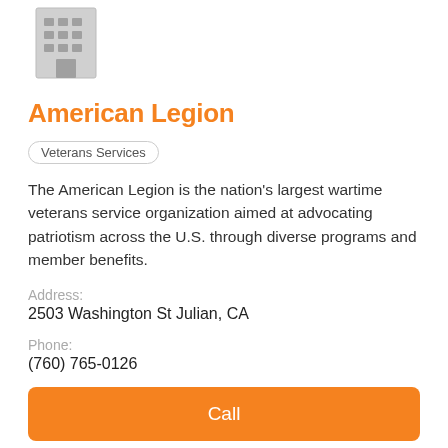[Figure (logo): Gray building/office icon placeholder]
American Legion
Veterans Services
The American Legion is the nation's largest wartime veterans service organization aimed at advocating patriotism across the U.S. through diverse programs and member benefits.
Address:
2503 Washington St Julian, CA
Phone:
(760) 765-0126
Call
View Profile
[Figure (logo): Veterans organization logo with wings and shield at bottom of page]